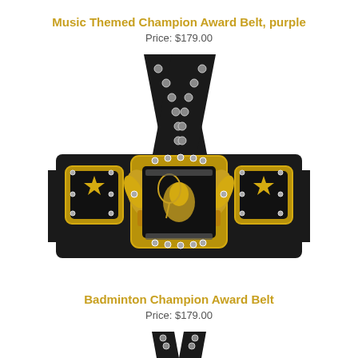Music Themed Champion Award Belt, purple
Price: $179.00
[Figure (photo): A black champion award belt with gold center buckle featuring a badminton shuttlecock and racket design, gold star side plates with rhinestones, torch wing decorations, and the belt straps crossed in an X shape above.]
Badminton Champion Award Belt
Price: $179.00
[Figure (photo): Partial view of another champion award belt at the bottom of the page.]